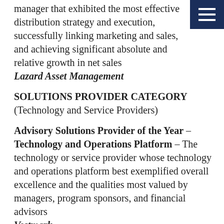manager that exhibited the most effective distribution strategy and execution, successfully linking marketing and sales, and achieving significant absolute and relative growth in net sales
Lazard Asset Management
SOLUTIONS PROVIDER CATEGORY (Technology and Service Providers)
Advisory Solutions Provider of the Year – Technology and Operations Platform – The technology or service provider whose technology and operations platform best exemplified overall excellence and the qualities most valued by managers, program sponsors, and financial advisors
Vestmark
Advisory Solutions Provider of the Year – Outsourced Investment Advisory Services – The technology or service provider whose investment